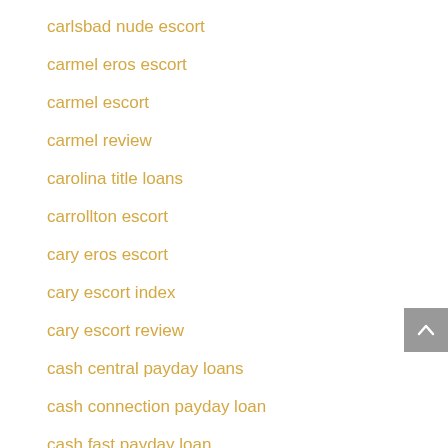carlsbad nude escort
carmel eros escort
carmel escort
carmel review
carolina title loans
carrollton escort
cary eros escort
cary escort index
cary escort review
cash central payday loans
cash connection payday loan
cash fast payday loan
cash pay day loan
cash payday loans near me
cash plus payday loan